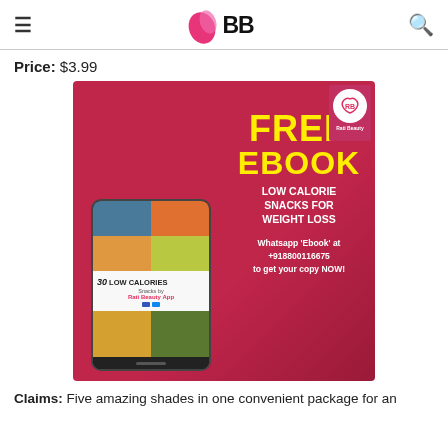IMBB
Price: $3.99
[Figure (illustration): Advertisement banner for a free ebook '30 Low Calories Snacks by Rati Beauty App' on a crimson/magenta background. Left side shows a tablet device displaying the ebook cover with food photos. Right side shows text: FREE EBOOK LOW CALORIE SNACKS FOR WEIGHT LOSS. Bottom text: Whatsapp 'Ebook' at +918800116675 to get your copy NOW!]
Claims: Five amazing shades in one convenient package for an